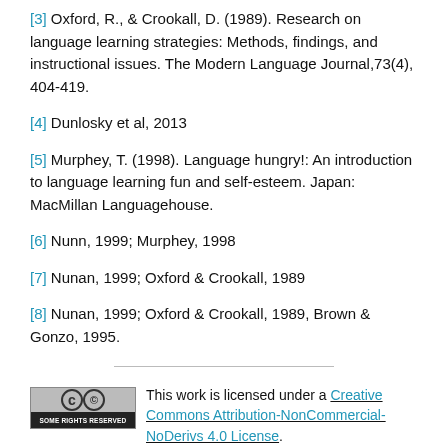[3] Oxford, R., & Crookall, D. (1989). Research on language learning strategies: Methods, findings, and instructional issues. The Modern Language Journal,73(4), 404-419.
[4] Dunlosky et al, 2013
[5] Murphey, T. (1998). Language hungry!: An introduction to language learning fun and self-esteem. Japan: MacMillan Languagehouse.
[6] Nunn, 1999; Murphey, 1998
[7] Nunan, 1999; Oxford & Crookall, 1989
[8] Nunan, 1999; Oxford & Crookall, 1989, Brown & Gonzo, 1995.
This work is licensed under a Creative Commons Attribution-NonCommercial-NoDerivs 4.0 License. You may reproduce it for non-commercial use if you use the entire handout and attribute the source: The Learning Center, University of North Carolina at Chapel Hill